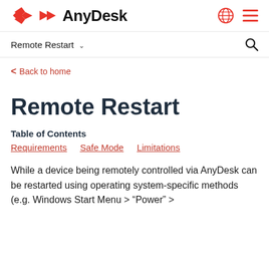AnyDesk
Remote Restart
< Back to home
Remote Restart
Table of Contents
Requirements
Safe Mode
Limitations
While a device being remotely controlled via AnyDesk can be restarted using operating system-specific methods (e.g. Windows Start Menu > "Power" >